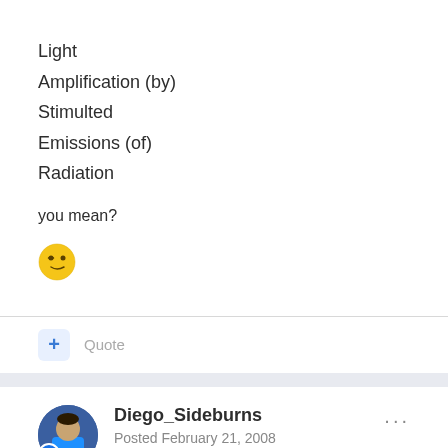Light
Amplification (by)
Stimulted
Emissions (of)
Radiation
you mean?
[Figure (illustration): A winking/smirking smiley face emoji]
+ Quote
Diego_Sideburns
Posted February 21, 2008
bluearmyof1 said: